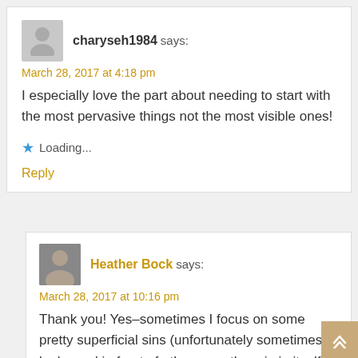charyseh1984 says:
March 28, 2017 at 4:18 pm
I especially love the part about needing to start with the most pervasive things not the most visible ones!
Loading...
Reply
Heather Bock says:
March 28, 2017 at 10:16 pm
Thank you! Yes–sometimes I focus on some pretty superficial sins (unfortunately sometimes to look good in front of others–another sin in itself) and ignore the worst